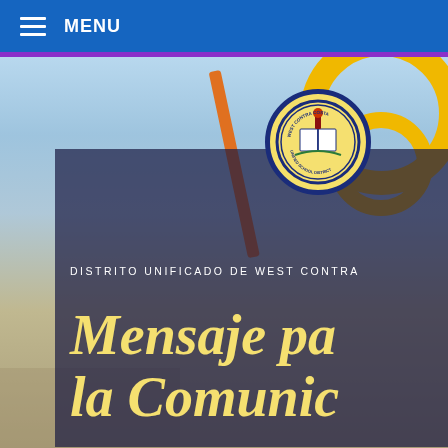MENU
[Figure (photo): School district webpage screenshot showing a playground photo with children climbing playground equipment. Overlaid with a dark semi-transparent panel containing the West Contra Costa Unified School District seal/logo, subtitle text 'DISTRITO UNIFICADO DE WEST CONTRA COSTA', and large italic title text 'Mensaje pa... la Comunic...' (Mensaje para la Comunidad). Navigation bar at top with hamburger menu icon and MENU text on blue background, with a purple horizontal line below it.]
Mensaje pa... la Comunic...